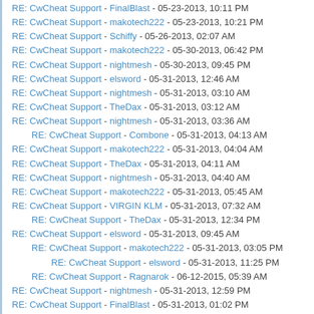RE: CwCheat Support - FinalBlast - 05-23-2013, 10:11 PM
RE: CwCheat Support - makotech222 - 05-23-2013, 10:21 PM
RE: CwCheat Support - Schiffy - 05-26-2013, 02:07 AM
RE: CwCheat Support - makotech222 - 05-30-2013, 06:42 PM
RE: CwCheat Support - nightmesh - 05-30-2013, 09:45 PM
RE: CwCheat Support - elsword - 05-31-2013, 12:46 AM
RE: CwCheat Support - nightmesh - 05-31-2013, 03:10 AM
RE: CwCheat Support - TheDax - 05-31-2013, 03:12 AM
RE: CwCheat Support - nightmesh - 05-31-2013, 03:36 AM
RE: CwCheat Support - Combone - 05-31-2013, 04:13 AM (indent1)
RE: CwCheat Support - makotech222 - 05-31-2013, 04:04 AM
RE: CwCheat Support - TheDax - 05-31-2013, 04:11 AM
RE: CwCheat Support - nightmesh - 05-31-2013, 04:40 AM
RE: CwCheat Support - makotech222 - 05-31-2013, 05:45 AM
RE: CwCheat Support - VIRGIN KLM - 05-31-2013, 07:32 AM
RE: CwCheat Support - TheDax - 05-31-2013, 12:34 PM (indent1)
RE: CwCheat Support - elsword - 05-31-2013, 09:45 AM
RE: CwCheat Support - makotech222 - 05-31-2013, 03:05 PM (indent1)
RE: CwCheat Support - elsword - 05-31-2013, 11:25 PM (indent2)
RE: CwCheat Support - Ragnarok - 06-12-2015, 05:39 AM (indent1)
RE: CwCheat Support - nightmesh - 05-31-2013, 12:59 PM
RE: CwCheat Support - FinalBlast - 05-31-2013, 01:02 PM
RE: CwCheat Support - TheDax - 05-31-2013, 01:10 PM
RE: CwCheat Support - nightmesh - 05-31-2013, 01:16 PM
RE: CwCheat Support - Schiffy - 05-31-2013, 01:21 PM